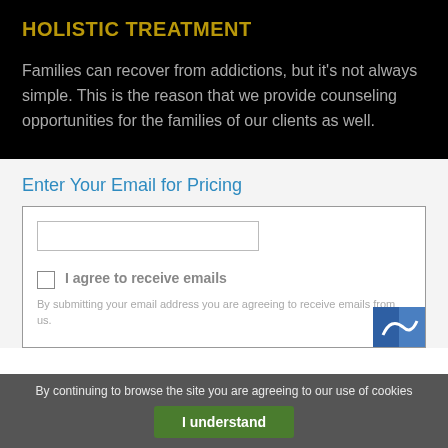HOLISTIC TREATMENT
Families can recover from addictions, but it's not always simple. This is the reason that we provide counseling opportunities for the families of our clients as well.
Enter Your Email for Pricing
[Figure (screenshot): Email input form with a text input field and a checkbox with label text, partially visible. A reCAPTCHA widget is partially visible in the bottom-right corner.]
By continuing to browse the site you are agreeing to our use of cookies
I understand